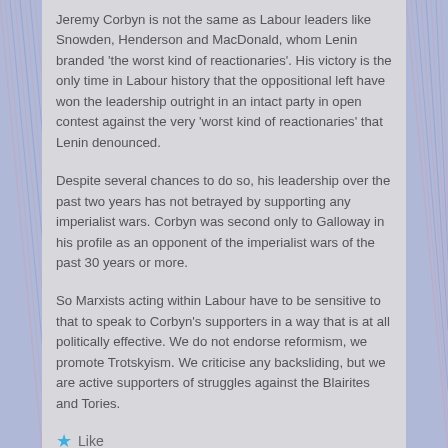Jeremy Corbyn is not the same as Labour leaders like Snowden, Henderson and MacDonald, whom Lenin branded ‘the worst kind of reactionaries’. His victory is the only time in Labour history that the oppositional left have won the leadership outright in an intact party in open contest against the very ‘worst kind of reactionaries’ that Lenin denounced.
Despite several chances to do so, his leadership over the past two years has not betrayed by supporting any imperialist wars. Corbyn was second only to Galloway in his profile as an opponent of the imperialist wars of the past 30 years or more.
So Marxists acting within Labour have to be sensitive to that to speak to Corbyn’s supporters in a way that is at all politically effective. We do not endorse reformism, we promote Trotskyism. We criticise any backsliding, but we are active supporters of struggles against the Blairites and Tories.
★ Like
Reply